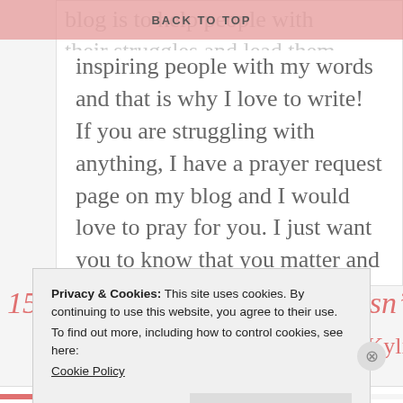BACK TO TOP
blog is to help people with their struggles and lead them more closer to God. I love inspiring people with my words and that is why I love to write! If you are struggling with anything, I have a prayer request page on my blog and I would love to pray for you. I just want you to know that you matter and you are loved by God.
View all posts by KylieCeline| Kylie's Corner & M
15 thoughts on “Your Worth Isn’t
Privacy & Cookies: This site uses cookies. By continuing to use this website, you agree to their use.
To find out more, including how to control cookies, see here: Cookie Policy
Close and accept